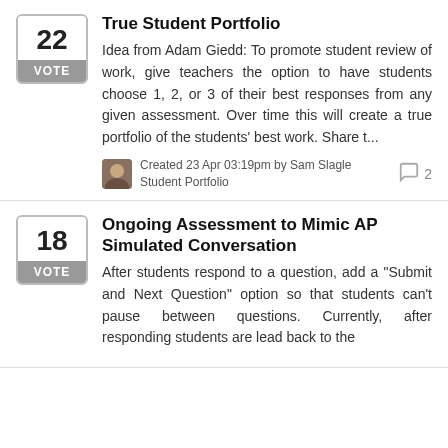[Figure (other): Vote box showing number 22 with VOTE label below]
True Student Portfolio
Idea from Adam Giedd: To promote student review of work, give teachers the option to have students choose 1, 2, or 3 of their best responses from any given assessment. Over time this will create a true portfolio of the students' best work. Share t...
Created 23 Apr 03:19pm by Sam Slagle
Student Portfolio
2 comments
[Figure (other): Vote box showing number 18 with VOTE label below]
Ongoing Assessment to Mimic AP Simulated Conversation
After students respond to a question, add a "Submit and Next Question" option so that students can't pause between questions. Currently, after responding students are lead back to the